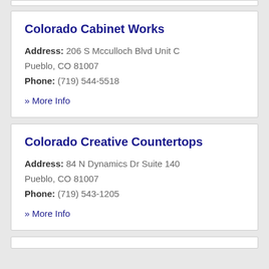Colorado Cabinet Works
Address: 206 S Mcculloch Blvd Unit C Pueblo, CO 81007
Phone: (719) 544-5518
» More Info
Colorado Creative Countertops
Address: 84 N Dynamics Dr Suite 140 Pueblo, CO 81007
Phone: (719) 543-1205
» More Info